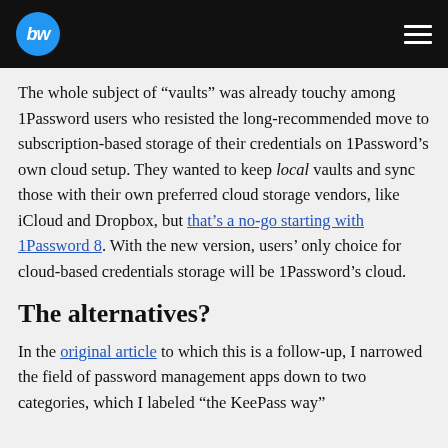bw [logo] navigation bar
The whole subject of “vaults” was already touchy among 1Password users who resisted the long-recommended move to subscription-based storage of their credentials on 1Password’s own cloud setup. They wanted to keep local vaults and sync those with their own preferred cloud storage vendors, like iCloud and Dropbox, but that’s a no-go starting with 1Password 8. With the new version, users’ only choice for cloud-based credentials storage will be 1Password’s cloud.
The alternatives?
In the original article to which this is a follow-up, I narrowed the field of password management apps down to two categories, which I labeled “the KeePass way”